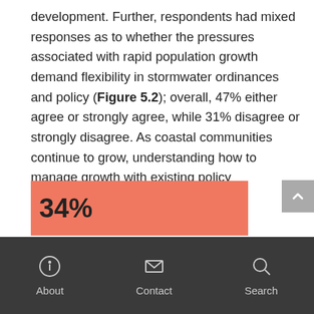development. Further, respondents had mixed responses as to whether the pressures associated with rapid population growth demand flexibility in stormwater ordinances and policy (Figure 5.2); overall, 47% either agree or strongly agree, while 31% disagree or strongly disagree. As coastal communities continue to grow, understanding how to manage growth with existing policy mechanisms is critical.
[Figure (infographic): Salmon/coral colored bar showing '34%' statistic, partially visible at bottom of page]
About   Contact   Search